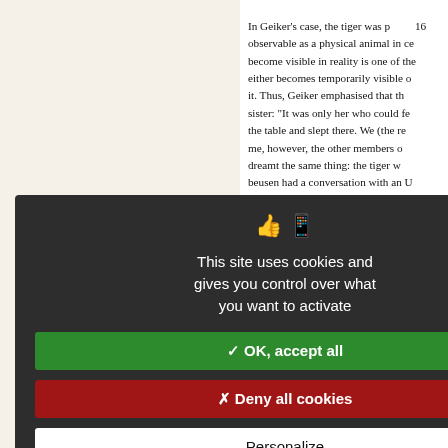16   In Geiker's case, the tiger was observable as a physical animal in ce... become visible in reality is one of the... either becomes temporarily visible o... it. Thus, Geiker emphasised that th... sister: "It was only her who could fe... the table and slept there. We (the re... me, however, the other members o... dreamt the same thing: the tiger w... beusen had a conversation with an U... tiger: "Where did the tiger babies g... aiga?", "They are here with me. Yo... . 171). In other words, this Ulch wo... hough they remained invisible to oth...
his information about tiger/human m... ndigenous ideas concerning how ind... he shamanistic point of view, after n... pirit obtains some of the features o... hese material features can be per... rdinary people. Generalizing the d... erms such a phenomenon as the "te... piritual worlds). She writes that "a... omeone's body"; thus, it needs a pe... s the shaman who is significant. He...
[Figure (screenshot): Cookie consent overlay popup with dark background (#2d2d2d). Contains icons of a hand and smartphone, text 'This site uses cookies and gives you control over what you want to activate', a green 'OK, accept all' button, a red 'Deny all cookies' button, a white 'Personalize' button, and a 'Privacy policy' link.]